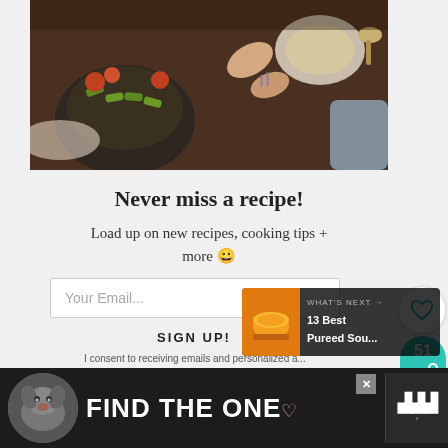[Figure (photo): Overhead view of people eating food at a wooden table with various dishes and plates]
Never miss a recipe!
Load up on new recipes, cooking tips + more 😀
Your Email...
SIGN UP!
I consent to receiving emails and personalized a...
WHAT'S NEXT →
13 Best Pureed Sou...
FIND THE ONE♡